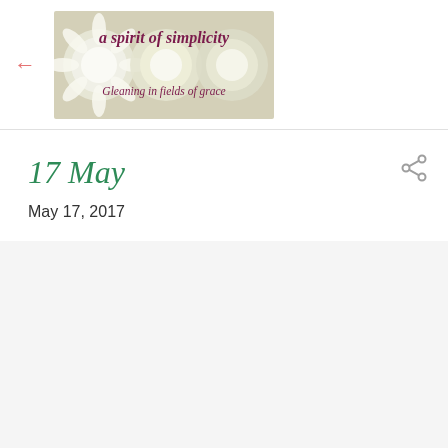a spirit of simplicity – Gleaning in fields of grace
17 May
May 17, 2017